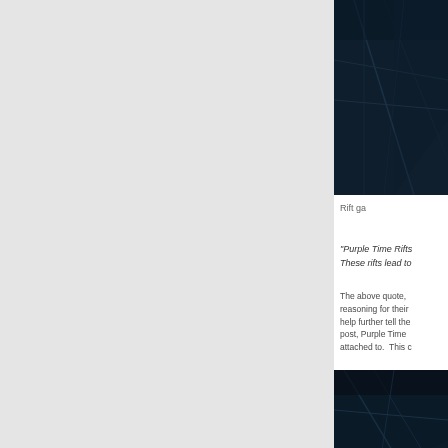[Figure (photo): Dark architectural or interior photograph with geometric shapes, blues and dark tones]
Rift ga
"Purple Time Rifts These rifts lead to
The above quote, reasoning for their help further tell the post, Purple Time attached to. This c
[Figure (photo): Dark architectural interior photograph similar to the first image]